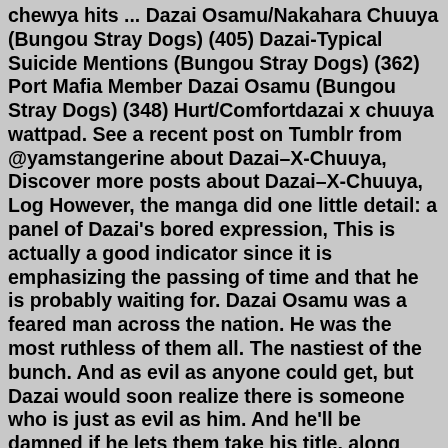chewya hits ... Dazai Osamu/Nakahara Chuuya (Bungou Stray Dogs) (405) Dazai-Typical Suicide Mentions (Bungou Stray Dogs) (362) Port Mafia Member Dazai Osamu (Bungou Stray Dogs) (348) Hurt/Comfortdazai x chuuya wattpad. See a recent post on Tumblr from @yamstangerine about Dazai–X-Chuuya, Discover more posts about Dazai–X-Chuuya, Log However, the manga did one little detail: a panel of Dazai's bored expression, This is actually a good indicator since it is emphasizing the passing of time and that he is probably waiting for. Dazai Osamu was a feared man across the nation. He was the most ruthless of them all. The nastiest of the bunch. And as evil as anyone could get, but Dazai would soon realize there is someone who is just as evil as him. And he'll be damned if he lets them take his title, along with what is his.Read the most popular chuuya stories on Wattpad, the world's largest social storytelling platform. ... +18 more # 13. soukoku- lost? by Chiisai. 241K 8.4K 37. This is ... 2020. 1. 8. · Completed January 8, 2020 Silver Studio, BSD |